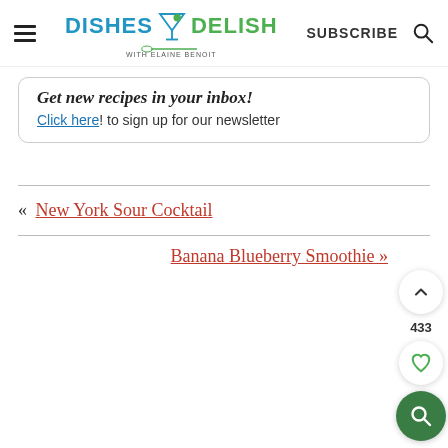Dishes Delish with Elaine Benoit | SUBSCRIBE
Get new recipes in your inbox! Click here! to sign up for our newsletter
« New York Sour Cocktail
Banana Blueberry Smoothie »